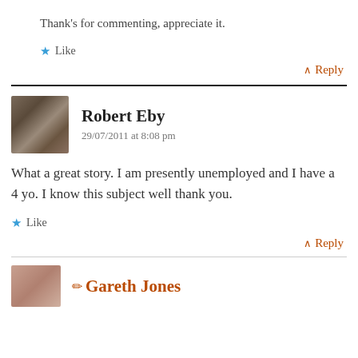Thank’s for commenting, appreciate it.
★ Like
∧ Reply
Robert Eby
29/07/2011 at 8:08 pm
What a great story. I am presently unemployed and I have a 4 yo. I know this subject well thank you.
★ Like
∧ Reply
Gareth Jones